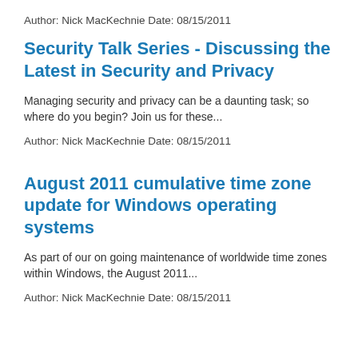Author: Nick MacKechnie Date: 08/15/2011
Security Talk Series - Discussing the Latest in Security and Privacy
Managing security and privacy can be a daunting task; so where do you begin? Join us for these...
Author: Nick MacKechnie Date: 08/15/2011
August 2011 cumulative time zone update for Windows operating systems
As part of our on going maintenance of worldwide time zones within Windows, the August 2011...
Author: Nick MacKechnie Date: 08/15/2011